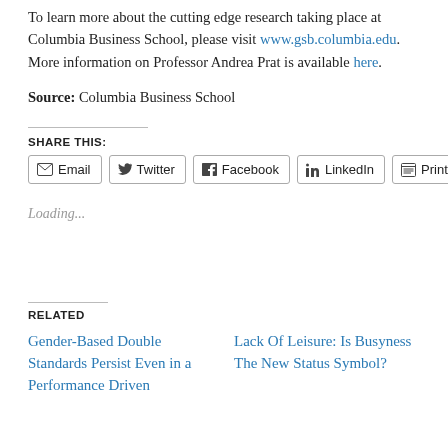To learn more about the cutting edge research taking place at Columbia Business School, please visit www.gsb.columbia.edu. More information on Professor Andrea Prat is available here.
Source: Columbia Business School
SHARE THIS:
Loading...
RELATED
Gender-Based Double Standards Persist Even in a Performance Driven
Lack Of Leisure: Is Busyness The New Status Symbol?